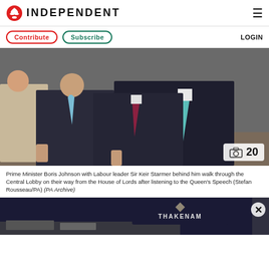INDEPENDENT
Contribute   Subscribe   LOGIN
[Figure (photo): Prime Minister Boris Johnson with Labour leader Sir Keir Starmer behind him walking through the Central Lobby, men in dark suits, one with teal tie, one with burgundy tie, woman in light outfit visible in background. Photo badge showing camera icon and '20'.]
Prime Minister Boris Johnson with Labour leader Sir Keir Starmer behind him walk through the Central Lobby on their way from the House of Lords after listening to the Queen's Speech (Stefan Rousseau/PA) (PA Archive)
[Figure (photo): Partial view of a second photo showing a dark storefront with 'THAKENAM' signage, with a close/X button overlay.]